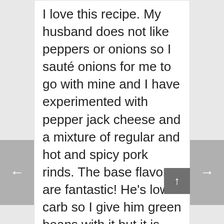I love this recipe. My husband does not like peppers or onions so I sauté onions for me to go with mine and I have experimented with pepper jack cheese and a mixture of regular and hot and spicy pork rinds. The base flavors are fantastic! He's low carb so I give him green beans with it but it is very filling on it's own
Receita de Crepioca · Reply
March 27, 2018 at 7:53 PM
nice recipe